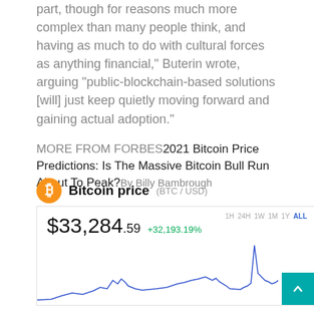part, though for reasons much more complex than many people think, and having as much to do with cultural forces as anything financial," Buterin wrote, arguing "public-blockchain-based solutions [will] just keep quietly moving forward and gaining actual adoption."
MORE FROM FORBES2021 Bitcoin Price Predictions: Is The Massive Bitcoin Bull Run About To Peak?By Billy Bambrough
[Figure (continuous-plot): Bitcoin price widget showing $33,284.59 with +32,193.19% change, with a line chart showing historical BTC/USD price. Time range buttons: 1H, 24H, 1W, 1M, 1Y, ALL (ALL selected). Chart shows price line with a sharp spike at the right end.]